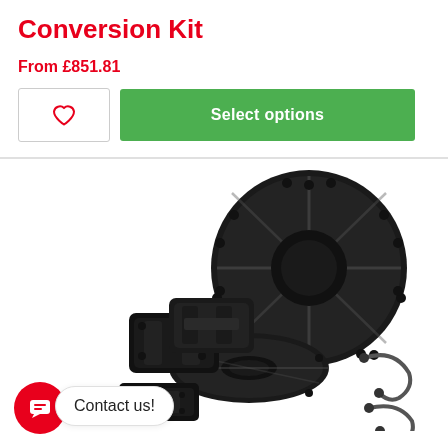Conversion Kit
From £851.81
[Figure (photo): Brake conversion kit product photo showing two slotted brake discs, two black brake calipers, a caliper bracket, and two brake lines on white background]
Contact us!